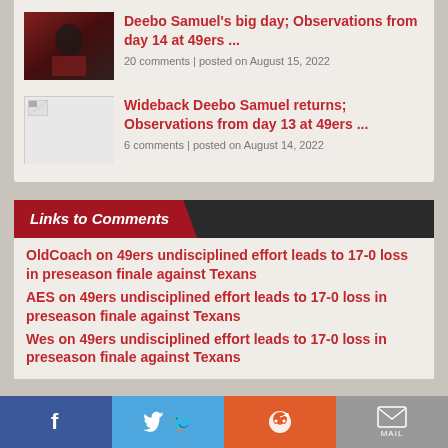[Figure (photo): Photo thumbnail of 49ers player/coach in red uniform]
Deebo Samuel's big day; Observations from day 14 at 49ers ...
20 comments | posted on August 15, 2022
[Figure (photo): Blank/placeholder image thumbnail]
Wideback Deebo Samuel returns; Observations from day 13 at 49ers ...
6 comments | posted on August 14, 2022
Links to Comments
OldCoach on 49ers undisciplined effort leads to 17-0 loss in preseason finale against Texans
AES on 49ers undisciplined effort leads to 17-0 loss in preseason finale against Texans
Wes on 49ers undisciplined effort leads to 17-0 loss in preseason finale against Texans
f  twitter  reddit  mail